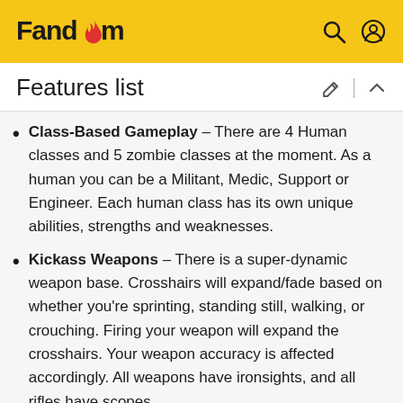Fandom
Features list
Class-Based Gameplay – There are 4 Human classes and 5 zombie classes at the moment. As a human you can be a Militant, Medic, Support or Engineer. Each human class has its own unique abilities, strengths and weaknesses.
Kickass Weapons – There is a super-dynamic weapon base. Crosshairs will expand/fade based on whether you're sprinting, standing still, walking, or crouching. Firing your weapon will expand the crosshairs. Your weapon accuracy is affected accordingly. All weapons have ironsights, and all rifles have scopes.